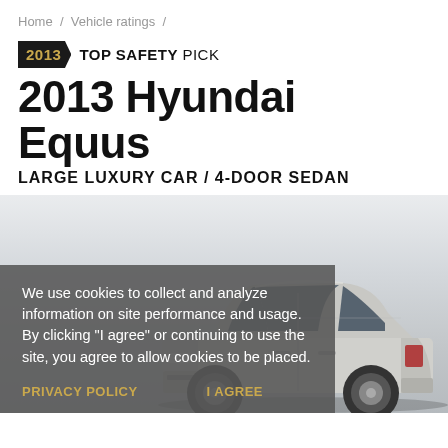Home / Vehicle ratings /
2013 TOP SAFETY PICK
2013 Hyundai Equus
LARGE LUXURY CAR / 4-DOOR SEDAN
[Figure (photo): 2013 Hyundai Equus large luxury 4-door sedan, silver/white color, shown from a front three-quarter angle on a white background]
We use cookies to collect and analyze information on site performance and usage. By clicking "I agree" or continuing to use the site, you agree to allow cookies to be placed.
PRIVACY POLICY   I AGREE